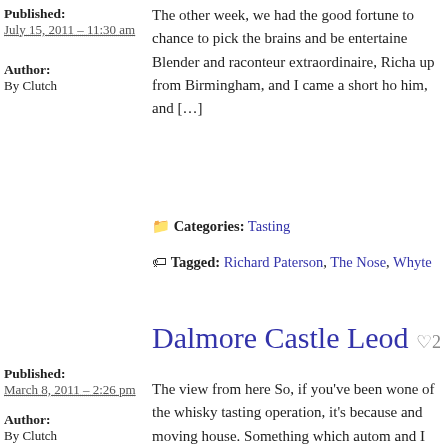Published:
July 15, 2011 – 11:30 am
Author:
By Clutch
The other week, we had the good fortune to chance to pick the brains and be entertained Blender and raconteur extraordinaire, Richa up from Birmingham, and I came a short ho him, and […]
Categories: Tasting
Tagged: Richard Paterson, The Nose, Whyte
Dalmore Castle Leod ♡2
Published:
March 8, 2011 – 2:26 pm
Author:
By Clutch
The view from here So, if you've been wone of the whisky tasting operation, it's because and moving house. Something which autom and I have relocated to Fife. Rural enough transport in […]